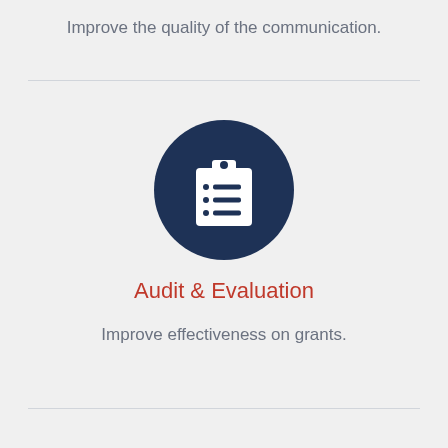Improve the quality of the communication.
[Figure (illustration): Dark navy blue circle icon containing a white clipboard with checklist lines]
Audit & Evaluation
Improve effectiveness on grants.